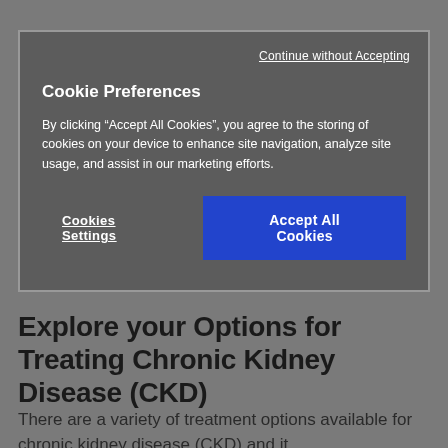Continue without Accepting
Cookie Preferences
By clicking “Accept All Cookies”, you agree to the storing of cookies on your device to enhance site navigation, analyze site usage, and assist in our marketing efforts.
Cookies Settings
Accept All Cookies
Explore your Options for Treating Chronic Kidney Disease (CKD)
There are a variety of treatment options available for chronic kidney disease (CKD) and it